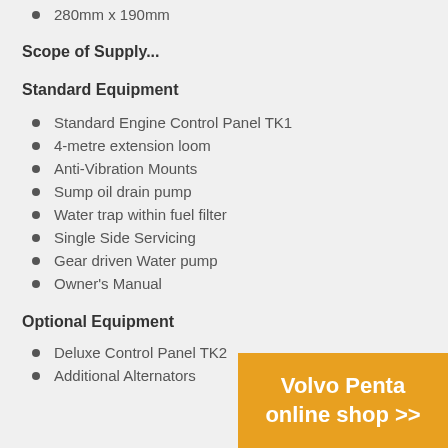280mm x 190mm
Scope of Supply...
Standard Equipment
Standard Engine Control Panel TK1
4-metre extension loom
Anti-Vibration Mounts
Sump oil drain pump
Water trap within fuel filter
Single Side Servicing
Gear driven Water pump
Owner's Manual
Optional Equipment
Deluxe Control Panel TK2
Additional Alternators
[Figure (other): Volvo Penta online shop >> orange promotional banner]